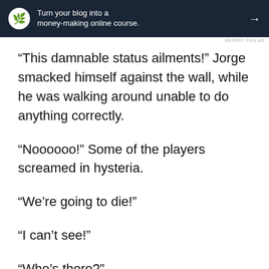[Figure (other): Dark navy advertisement banner with a bonsai tree icon, text 'Turn your blog into a money-making online course.' and a right arrow]
REPORT THIS AD
“This damnable status ailments!” Jorge smacked himself against the wall, while he was walking around unable to do anything correctly.
“Noooooo!” Some of the players screamed in hysteria.
“We’re going to die!”
“I can’t see!”
“Who’s there?”